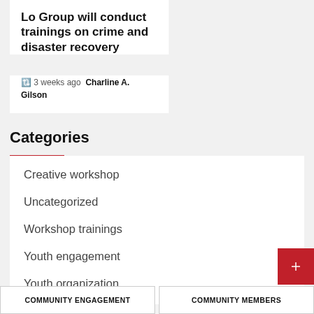Lo Group will conduct trainings on crime and disaster recovery
3 weeks ago  Charline A. Gilson
Categories
Creative workshop
Uncategorized
Workshop trainings
Youth engagement
Youth organization
COMMUNITY ENGAGEMENT   COMMUNITY MEMBERS